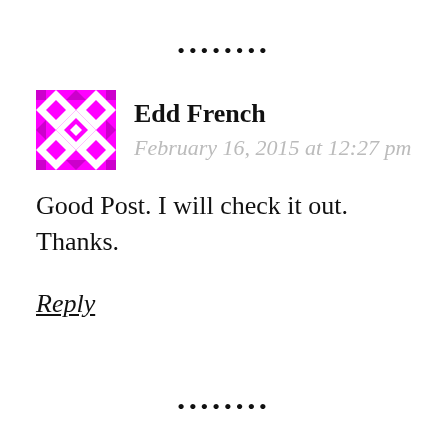••••••••
Edd French
February 16, 2015 at 12:27 pm
Good Post. I will check it out. Thanks.
Reply
••••••••